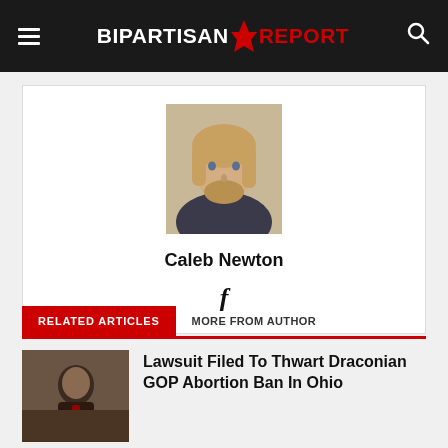BIPARTISAN REPORT
[Figure (photo): Author headshot of Caleb Newton, young man with blond beard and hair]
Caleb Newton
f
RELATED ARTICLES   MORE FROM AUTHOR
[Figure (photo): News article thumbnail photo]
Lawsuit Filed To Thwart Draconian GOP Abortion Ban In Ohio